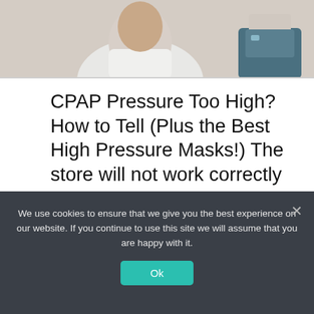[Figure (photo): Person seated in medical/home setting, CPAP or medical equipment visible on a nightstand to the right, soft natural lighting]
CPAP Pressure Too High? How to Tell (Plus the Best High Pressure Masks!) The store will not work correctly in the case when cookies are disabled. JavaScript seems to be disabled in your browser. For the best experience on our site, be sure to turn on Javascript in your browser. Do … Read more
Sleep Apnea
We use cookies to ensure that we give you the best experience on our website. If you continue to use this site we will assume that you are happy with it.